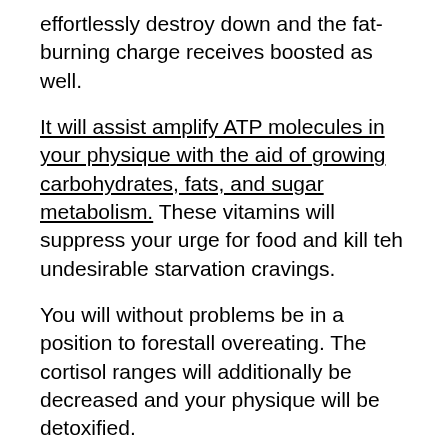effortlessly destroy down and the fat-burning charge receives boosted as well.
It will assist amplify ATP molecules in your physique with the aid of growing carbohydrates, fats, and sugar metabolism. These vitamins will suppress your urge for food and kill teh undesirable starvation cravings.
You will without problems be in a position to forestall overeating. The cortisol ranges will additionally be decreased and your physique will be detoxified.
What is the recommended dosage of Flavo Trim Reviews?
As Flavo Trim is an all-natural dietary supplement, it can be used by anyone who desires to lose weight naturally and healthily.